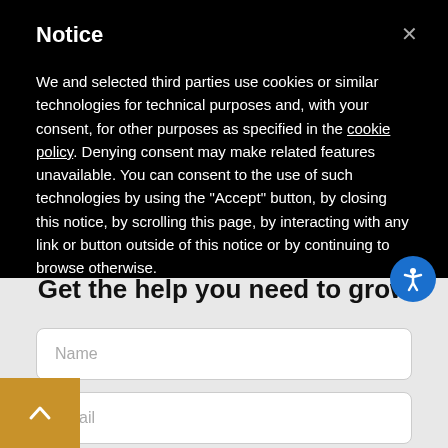Notice
We and selected third parties use cookies or similar technologies for technical purposes and, with your consent, for other purposes as specified in the cookie policy. Denying consent may make related features unavailable. You can consent to the use of such technologies by using the "Accept" button, by closing this notice, by scrolling this page, by interacting with any link or button outside of this notice or by continuing to browse otherwise.
Get the help you need to grow
Name
Email
Free consultation